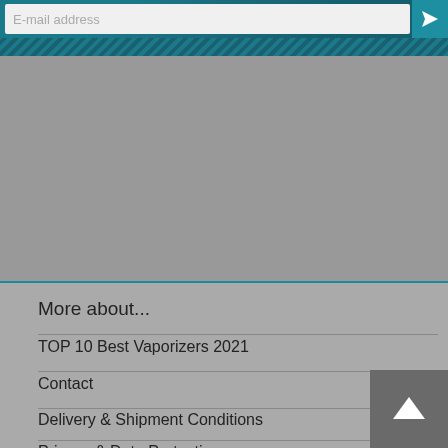[Figure (screenshot): Email subscription input field with teal striped background banner at top]
More about...
TOP 10 Best Vaporizers 2021
Contact
Delivery & Shipment Conditions
Privacy & Data Protection
Right of Revocation